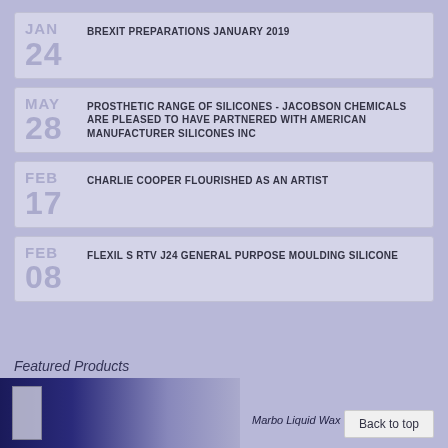JAN 24 BREXIT PREPARATIONS JANUARY 2019
MAY 28 PROSTHETIC RANGE OF SILICONES - JACOBSON CHEMICALS ARE PLEASED TO HAVE PARTNERED WITH AMERICAN MANUFACTURER SILICONES INC
FEB 17 CHARLIE COOPER FLOURISHED AS AN ARTIST
FEB 08 FLEXIL S RTV J24 GENERAL PURPOSE MOULDING SILICONE
Featured Products
Marbo Liquid Wax
Back to top